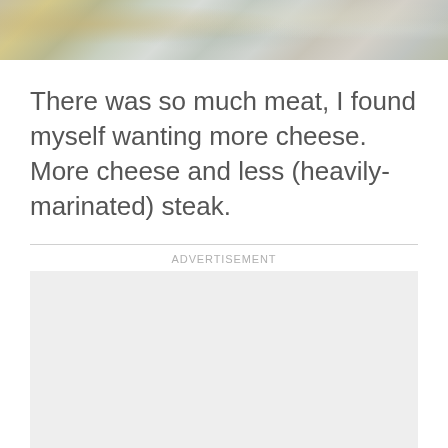[Figure (photo): Food photo strip at top of page showing foil-wrapped or textured food items in gold, silver, and grey tones]
There was so much meat, I found myself wanting more cheese. More cheese and less (heavily-marinated) steak.
ADVERTISEMENT
[Figure (other): Grey advertisement placeholder box]